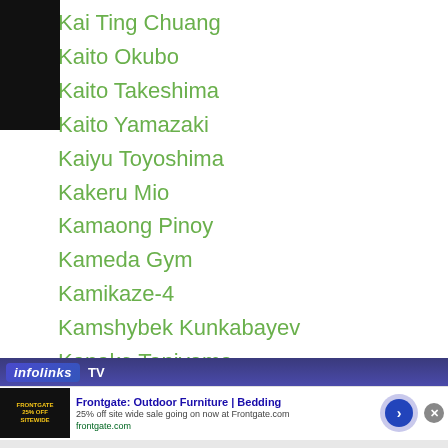Kai Ting Chuang
Kaito Okubo
Kaito Takeshima
Kaito Yamazaki
Kaiyu Toyoshima
Kakeru Mio
Kamaong Pinoy
Kameda Gym
Kamikaze-4
Kamshybek Kunkabayev
Kanako Taniyama
Kanamu Sakama
Kanat Islam
Kanehiro Nakagawa
Kanjo Taiyo
[Figure (screenshot): Infolinks TV advertisement bar with Frontgate outdoor furniture ad showing 25% off sitewide sale]